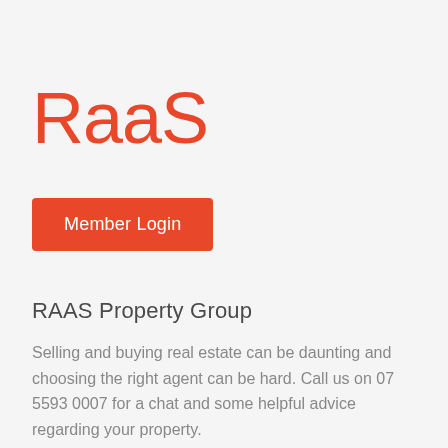[Figure (logo): RAAS logo in large orange stylized text]
Member Login
RAAS Property Group
Selling and buying real estate can be daunting and choosing the right agent can be hard. Call us on 07 5593 0007 for a chat and some helpful advice regarding your property.